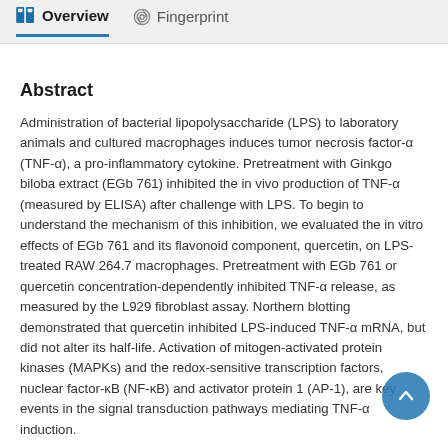Overview   Fingerprint
Abstract
Administration of bacterial lipopolysaccharide (LPS) to laboratory animals and cultured macrophages induces tumor necrosis factor-α (TNF-α), a pro-inflammatory cytokine. Pretreatment with Ginkgo biloba extract (EGb 761) inhibited the in vivo production of TNF-α (measured by ELISA) after challenge with LPS. To begin to understand the mechanism of this inhibition, we evaluated the in vitro effects of EGb 761 and its flavonoid component, quercetin, on LPS-treated RAW 264.7 macrophages. Pretreatment with EGb 761 or quercetin concentration-dependently inhibited TNF-α release, as measured by the L929 fibroblast assay. Northern blotting demonstrated that quercetin inhibited LPS-induced TNF-α mRNA, but did not alter its half-life. Activation of mitogen-activated protein kinases (MAPKs) and the redox-sensitive transcription factors, nuclear factor-κB (NF-κB) and activator protein 1 (AP-1), are key events in the signal transduction pathways mediating TNF-α induction.